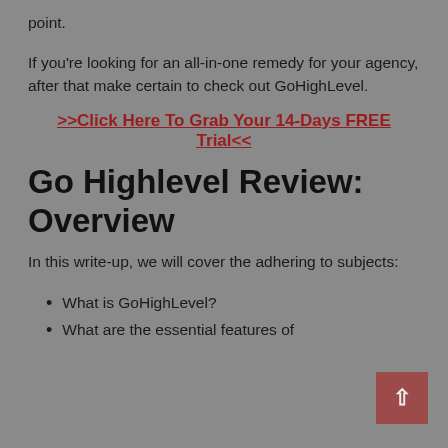point.
If you're looking for an all-in-one remedy for your agency, after that make certain to check out GoHighLevel.
>>Click Here To Grab Your 14-Days FREE Trial<<
Go Highlevel Review: Overview
In this write-up, we will cover the adhering to subjects:
What is GoHighLevel?
What are the essential features of